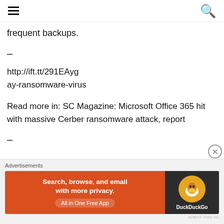frequent backups.
–
http://ift.tt/291EAygay-ransomware-virus
Read more in: SC Magazine: Microsoft Office 365 hit with massive Cerber ransomware attack, report
–
[Figure (infographic): DuckDuckGo advertisement banner: Search, browse, and email with more privacy. All in One Free App.]